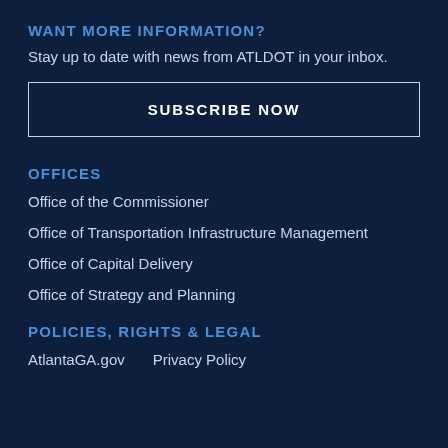WANT MORE INFORMATION?
Stay up to date with news from ATLDOT in your inbox.
SUBSCRIBE NOW
OFFICES
Office of the Commissioner
Office of Transportation Infrastructure Management
Office of Capital Delivery
Office of Strategy and Planning
POLICIES, RIGHTS & LEGAL
AtlantaGA.gov
Privacy Policy